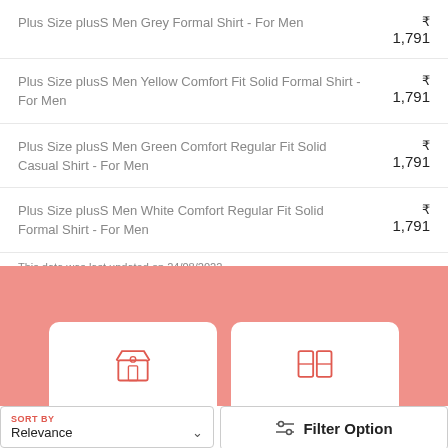Plus Size plusS Men Grey Formal Shirt - For Men ₹1,791
Plus Size plusS Men Yellow Comfort Fit Solid Formal Shirt - For Men ₹1,791
Plus Size plusS Men Green Comfort Regular Fit Solid Casual Shirt - For Men ₹1,791
Plus Size plusS Men White Comfort Regular Fit Solid Formal Shirt - For Men ₹1,791
This data was last updated on 24/08/2022
[Figure (screenshot): Pink bottom section with two white card buttons showing store and layout icons]
SORT BY Relevance
Filter Option